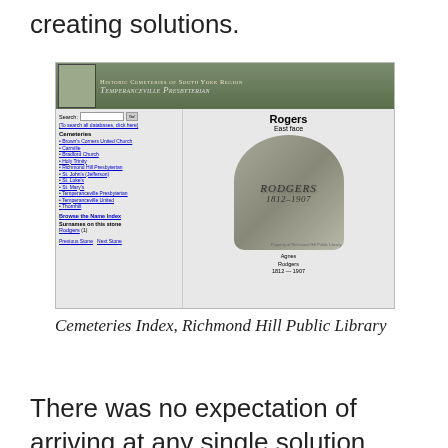creating solutions.
[Figure (screenshot): Screenshot of Historic Cemeteries of South York Region website showing Temperanceville Presbyterian cemetery, with a sidebar menu of cemetery links, and a main panel showing a gravestone for Rogers (Agnes Rodgers, 1812-1907), East face]
Cemeteries Index, Richmond Hill Public Library
There was no expectation of arriving at any single solution, rather the